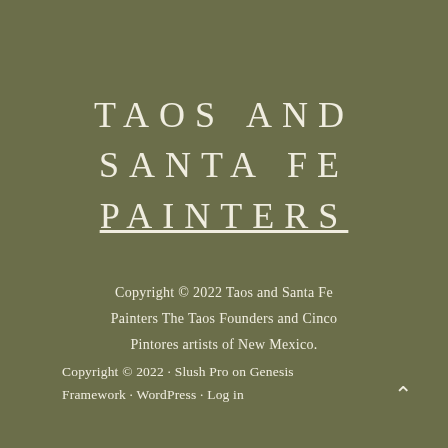TAOS AND SANTA FE PAINTERS
Copyright © 2022 Taos and Santa Fe Painters The Taos Founders and Cinco Pintores artists of New Mexico.
Copyright © 2022 · Slush Pro on Genesis Framework · WordPress · Log in